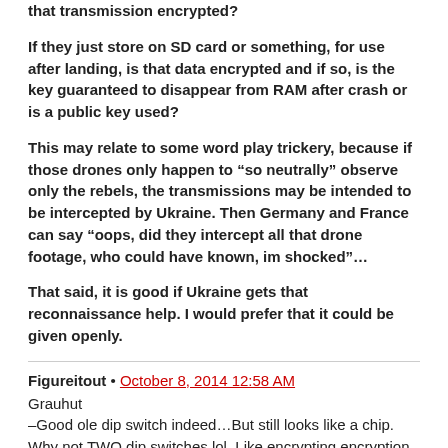that transmission encrypted?
If they just store on SD card or something, for use after landing, is that data encrypted and if so, is the key guaranteed to disappear from RAM after crash or is a public key used?
This may relate to some word play trickery, because if those drones only happen to “so neutrally” observe only the rebels, the transmissions may be intended to be intercepted by Ukraine. Then Germany and France can say “oops, did they intercept all that drone footage, who could have known, im shocked”…
That said, it is good if Ukraine gets that reconnaissance help. I would prefer that it could be given openly.
Figureitout • October 8, 2014 12:58 AM
Grauhut
–Good ole dip switch indeed…But still looks like a chip. Why not TWO dip switches lol. Like encrypting encryption keys, have a DIPDIPDIPDIP… switch lol. Where do we stop?